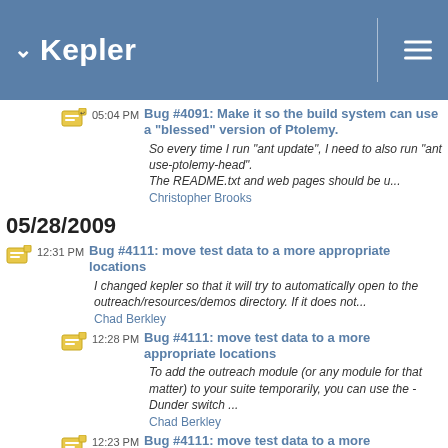Kepler
05:04 PM Bug #4091: Make it so the build system can use a "blessed" version of Ptolemy.
So every time I run "ant update", I need to also run "ant use-ptolemy-head".
The README.txt and web pages should be u...
Christopher Brooks
05/28/2009
12:31 PM Bug #4111: move test data to a more appropriate locations
I changed kepler so that it will try to automatically open to the outreach/resources/demos directory. If it does not...
Chad Berkley
12:28 PM Bug #4111: move test data to a more appropriate locations
To add the outreach module (or any module for that matter) to your suite temporarily, you can use the -Dunder switch ...
Chad Berkley
12:23 PM Bug #4111: move test data to a more appropriate locations
I moved the testdata and the demos to the outreach module. I'm looking into ways to add the ability to the